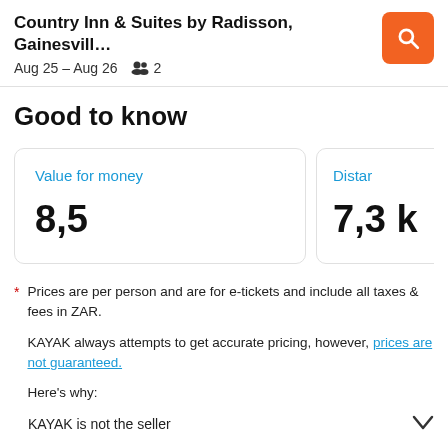Country Inn & Suites by Radisson, Gainesvill…   Aug 25 – Aug 26   2
Good to know
Value for money
8,5
Distan…
7,3 k…
* Prices are per person and are for e-tickets and include all taxes & fees in ZAR.

KAYAK always attempts to get accurate pricing, however, prices are not guaranteed.

Here's why:

KAYAK is not the seller
prices are not guaranteed.